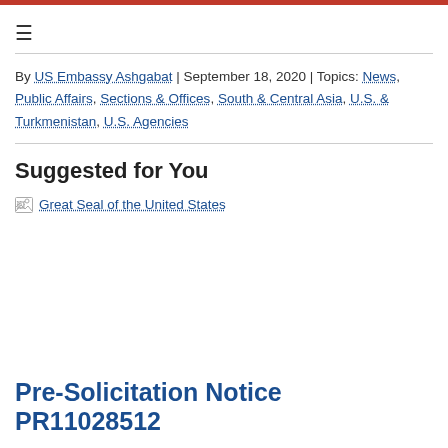By US Embassy Ashgabat | September 18, 2020 | Topics: News, Public Affairs, Sections & Offices, South & Central Asia, U.S. & Turkmenistan, U.S. Agencies
Suggested for You
[Figure (illustration): Broken image placeholder labeled 'Great Seal of the United States']
Pre-Solicitation Notice PR11028512